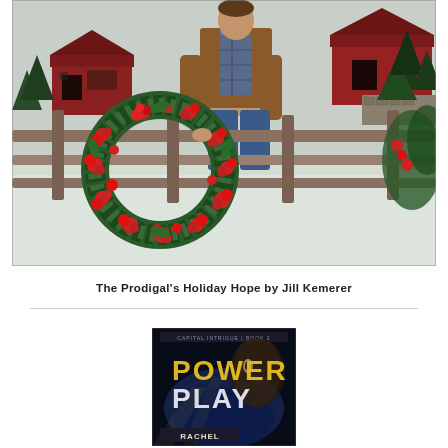[Figure (photo): Person in brown sheepskin jacket holding a Christmas wreath with red berries and greenery, leaning on a wooden fence rail. Snowy farm scene in background with red barn buildings.]
The Prodigal's Holiday Hope by Jill Kemerer
[Figure (photo): Book cover for 'Power Play' - a thriller/suspense novel showing dramatic dark imagery with a person's face partially visible. Author name at bottom appears to be Rachel.]